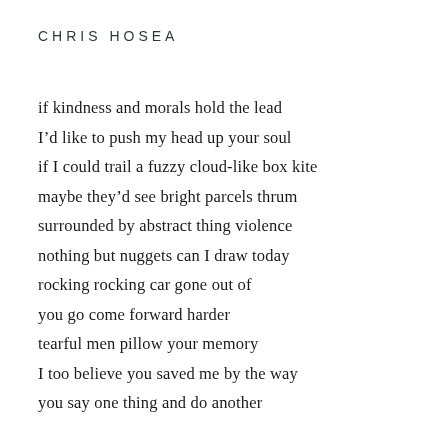CHRIS HOSEA
if kindness and morals hold the lead
I’d like to push my head up your soul
if I could trail a fuzzy cloud-like box kite
maybe they’d see bright parcels thrum
surrounded by abstract thing violence
nothing but nuggets can I draw today
rocking rocking car gone out of
you go come forward harder
tearful men pillow your memory
I too believe you saved me by the way
you say one thing and do another